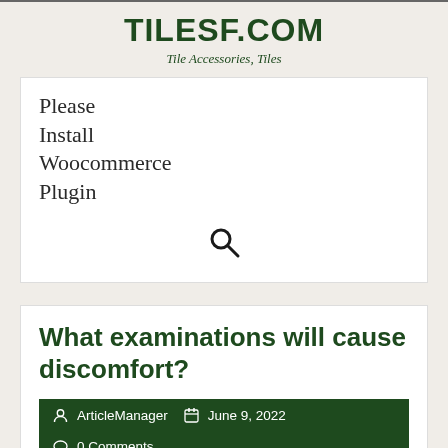TILESF.COM
Tile Accessories, Tiles
Please
Install
Woocommerce
Plugin
[Figure (other): Search icon (magnifying glass)]
What examinations will cause discomfort?
ArticleManager  June 9, 2022  0 Comments